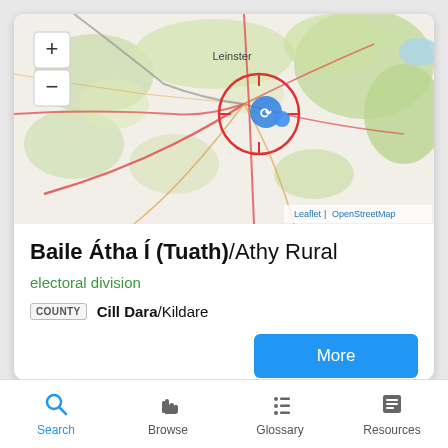[Figure (map): Interactive map showing the Athy Rural area in Leinster, Ireland. Map tiles from OpenStreetMap with a red circle marker centered on a blue location pin. Zoom +/- controls visible top-left. Attribution reads 'Leaflet | OpenStreetMap' bottom-right.]
Baile Átha Í (Tuath)/Athy Rural
electoral division
COUNTY  Cill Dara/Kildare
More
Search  Browse  Glossary  Resources